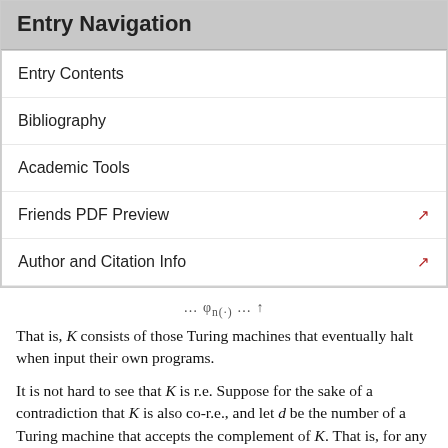Entry Navigation
Entry Contents
Bibliography
Academic Tools
Friends PDF Preview
Author and Citation Info
That is, K consists of those Turing machines that eventually halt when input their own programs.
It is not hard to see that K is r.e. Suppose for the sake of a contradiction that K is also co-r.e., and let d be the number of a Turing machine that accepts the complement of K. That is, for any n,
Loading [MathJax]/jax/output/HTML-CSS/fonts/TeX/fontdata.js